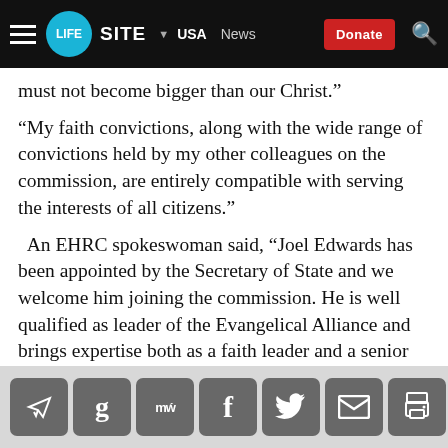LIFESITE | USA | News | Donate
must not become bigger than our Christ.”
“My faith convictions, along with the wide range of convictions held by my other colleagues on the commission, are entirely compatible with serving the interests of all citizens.”
An EHRC spokeswoman said, “Joel Edwards has been appointed by the Secretary of State and we welcome him joining the commission. He is well qualified as leader of the Evangelical Alliance and brings expertise both as a faith leader and a senior figure in the black community.”
Social sharing icons: Telegram, Google, MeWe, Facebook, Twitter, Email, Print, Donate